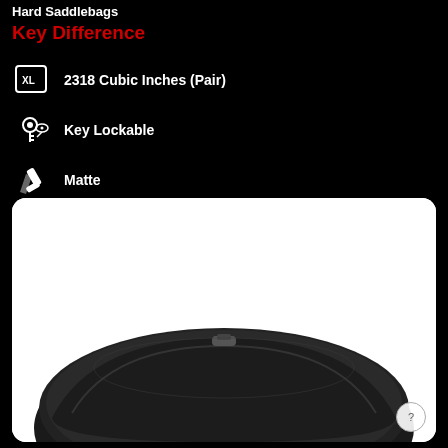Hard Saddlebags
Key Difference
2318 Cubic Inches (Pair)
Key Lockable
Matte
[Figure (photo): Black matte hard saddlebag motorcycle accessory shown on white rounded background]